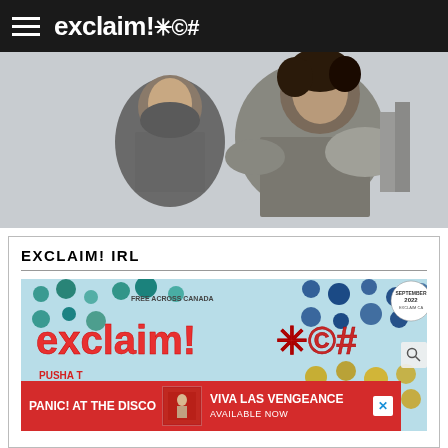exclaim!*©#
[Figure (photo): Two people wearing medieval chainmail armor looking upward against a light sky background]
EXCLAIM! IRL
[Figure (photo): Exclaim! magazine September 2022 cover featuring the exclaim!*©# logo with colorful dot pattern background, text: FREE ACROSS CANADA, PUSHA T IF YOU KNOW, YOU KNOW, MY CHEMICAL ROMANCE THEY'RE BACK]
[Figure (photo): Red advertisement banner: PANIC! AT THE DISCO — VIVA LAS VENGEANCE AVAILABLE NOW]